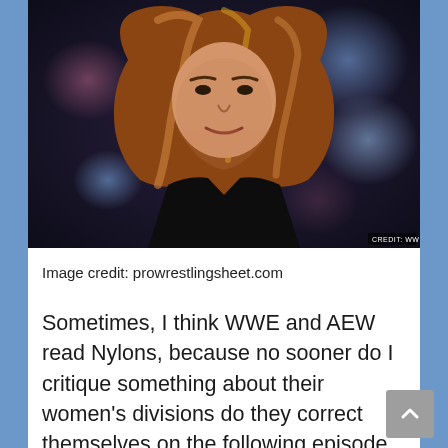[Figure (photo): Photo of a woman with long wavy auburn/red hair wearing a black jacket, looking down or forward, with colorful blurred background. Credit: WWE watermark visible in bottom right corner.]
Image credit: prowrestlingsheet.com
Sometimes, I think WWE and AEW read Nylons, because no sooner do I critique something about their women's divisions do they correct themselves on the following episode of TV. As many of you witnessed, women returned to TV on AEW two weeks ago. Hooray! And as such, there were some good things, and there were some...questionable things to talk about. I am excited to